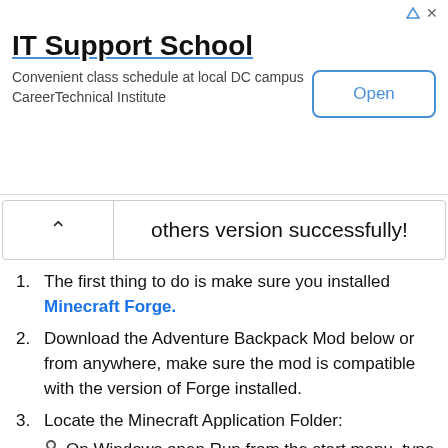[Figure (other): Advertisement banner for IT Support School - CareerTechnical Institute with Open button]
others version successfully!
The first thing to do is make sure you installed Minecraft Forge.
Download the Adventure Backpack Mod below or from anywhere, make sure the mod is compatible with the version of Forge installed.
Locate the Minecraft Application Folder:
On Windows open Run from the start menu, type %appdata%\.minecraft\ and click Run.
On MAC OS X open finder, hold down ALT and click Go then Library in the top menu bar. Open the folder Application Support and look for minecraft.